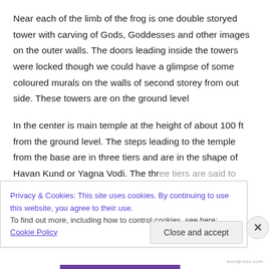Near each of the limb of the frog is one double storyed tower with carving of Gods, Goddesses and other images on the outer walls. The doors leading inside the towers were locked though we could have a glimpse of some coloured murals on the walls of second storey from out side. These towers are on the ground level
In the center is main temple at the height of about 100 ft from the ground level. The steps leading to the temple from the base are in three tiers and are in the shape of Havan Kund or Yagna Vodi. The three tiers are said to
Privacy & Cookies: This site uses cookies. By continuing to use this website, you agree to their use.
To find out more, including how to control cookies, see here: Cookie Policy